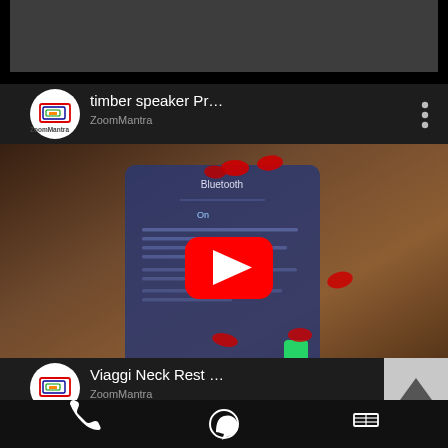[Figure (screenshot): Mobile app screenshot showing YouTube-style video feed. Top partial thumbnail of dark video. First video card with ZoomMantra avatar and title 'timber speaker Pr...' with three-dot menu. Video thumbnail showing hand holding phone with YouTube play button. Second video card with ZoomMantra avatar and title 'Viaggi Neck Rest ...' with three-dot menu and up-arrow button. Bottom navigation bar with phone, WhatsApp, and menu icons.]